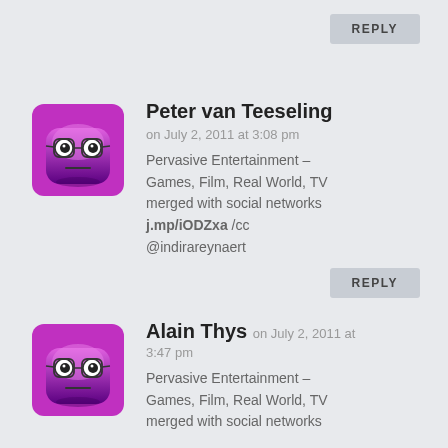REPLY
[Figure (illustration): Purple cartoon avatar with glasses - rounded square shape]
Peter van Teeseling
on July 2, 2011 at 3:08 pm
Pervasive Entertainment – Games, Film, Real World, TV merged with social networks j.mp/iODZxa /cc @indirareynaert
REPLY
[Figure (illustration): Purple cartoon avatar with glasses - rounded square shape]
Alain Thys
on July 2, 2011 at 3:47 pm
Pervasive Entertainment – Games, Film, Real World, TV merged with social networks